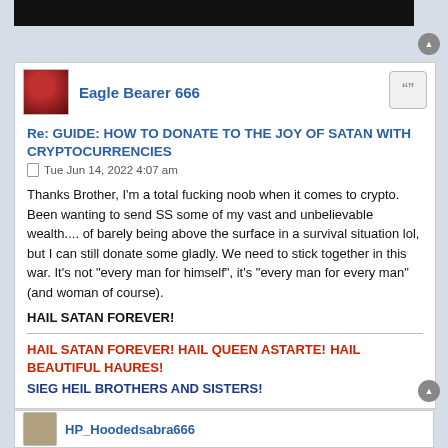[Figure (screenshot): Black redacted bar at top of page]
Eagle Bearer 666
Re: GUIDE: HOW TO DONATE TO THE JOY OF SATAN WITH CRYPTOCURRENCIES
Tue Jun 14, 2022 4:07 am
Thanks Brother, I'm a total fucking noob when it comes to crypto. Been wanting to send SS some of my vast and unbelievable wealth.... of barely being above the surface in a survival situation lol, but I can still donate some gladly. We need to stick together in this war. It's not "every man for himself", it's "every man for every man" (and woman of course).
HAIL SATAN FOREVER!
HAIL SATAN FOREVER! HAIL QUEEN ASTARTE! HAIL BEAUTIFUL HAURES!
SIEG HEIL BROTHERS AND SISTERS!
HP_Hoodedsabra666